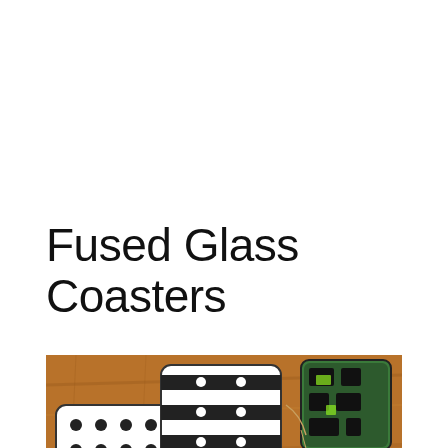Fused Glass Coasters
[Figure (photo): Overhead photo of fused glass coasters arranged on a wooden table surface. Coasters feature black and white geometric patterns including stripes with dots, polka dots, and rectangular brick-like patterns. A stack of colorful coasters (green/black) is visible on the right side.]